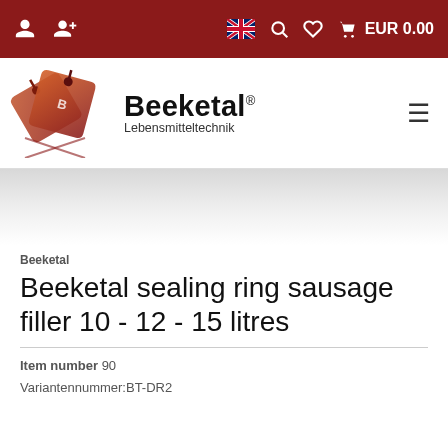EUR 0.00
[Figure (logo): Beeketal Lebensmitteltechnik logo with stylized label/tag icons in red/brown gradient and brand name in bold black text with registered trademark symbol]
Beeketal
Beeketal sealing ring sausage filler 10 - 12 - 15 litres
Item number 90
Variantennummer:BT-DR2